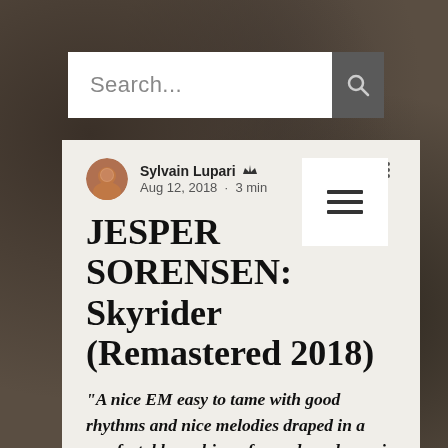[Figure (screenshot): Dark stone/concrete texture background]
Search...
Sylvain Lupari · Aug 12, 2018 · 3 min
JESPER SORENSEN: Skyrider (Remastered 2018)
“A nice EM easy to tame with good rhythms and nice melodies draped in a comfortable cushion of sounds and cosmic ambiances, Skyrider is within